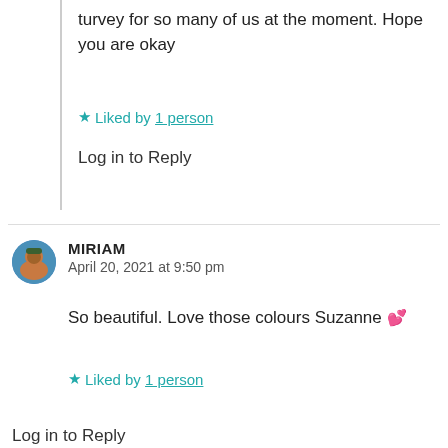turvey for so many of us at the moment. Hope you are okay
Liked by 1 person
Log in to Reply
MIRIAM
April 20, 2021 at 9:50 pm
So beautiful. Love those colours Suzanne 💕
Liked by 1 person
Log in to Reply